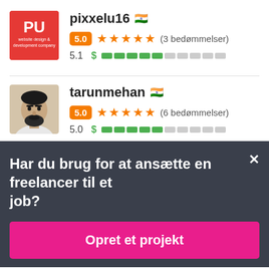[Figure (logo): PU logo — red square with white PU letters and tagline]
pixxelu16 🇮🇳
5.0 ★★★★★ (3 bedømmelser)
5.1 $ ████░░░░░░
[Figure (photo): Profile photo of tarunmehan — man with beard]
tarunmehan 🇮🇳
5.0 ★★★★★ (6 bedømmelser)
5.0 $ ████░░░░░░
Har du brug for at ansætte en freelancer til et job?
Opret et projekt